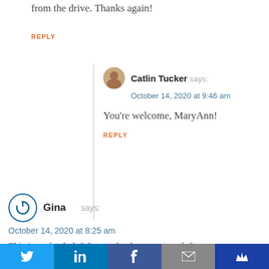from the drive. Thanks again!
REPLY
Catlin Tucker says:
October 14, 2020 at 9:46 am
You're welcome, MaryAnn!
REPLY
Gina says:
October 14, 2020 at 8:25 am
This is such a helpful post, thank you so much for